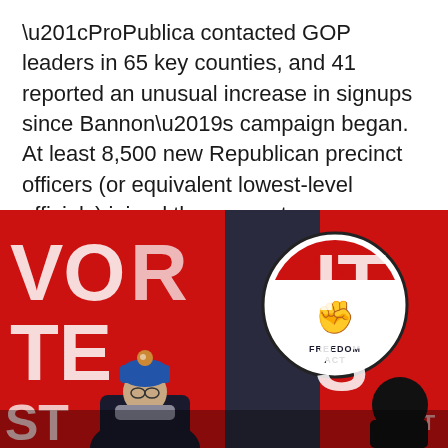“ProPublica contacted GOP leaders in 65 key counties, and 41 reported an unusual increase in signups since Bannon’s campaign began. At least 8,500 new Republican precinct officers (or equivalent lowest-level officials) joined those county parties,” the outlet explains. “We also looked at equivalent Democratic posts and found no similar surge.”
[Figure (photo): Photograph of a protest scene with red banners reading 'VOTE', 'WAKE UP', 'FREEDOM ACT' and other text. A person wearing a blue knit hat and scarf is visible in the foreground.]